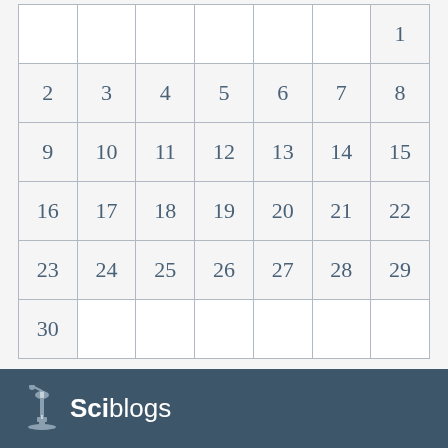|  |  |  |  |  |  | 1 |
| 2 | 3 | 4 | 5 | 6 | 7 | 8 |
| 9 | 10 | 11 | 12 | 13 | 14 | 15 |
| 16 | 17 | 18 | 19 | 20 | 21 | 22 |
| 23 | 24 | 25 | 26 | 27 | 28 | 29 |
| 30 |  |  |  |  |  |  |
Sciblogs